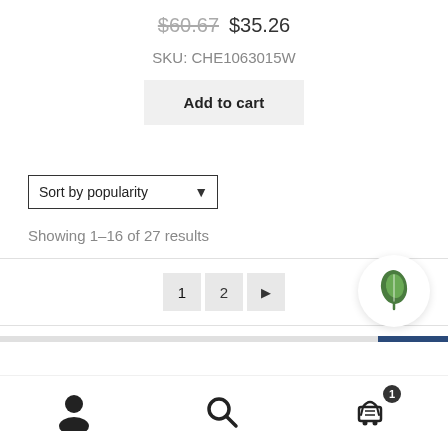$60.67  $35.26
SKU: CHE1063015W
Add to cart
Sort by popularity
Showing 1–16 of 27 results
1  2  ▶
[Figure (logo): Green leaf logo in a white circle]
[Figure (illustration): User/account icon (person silhouette)]
[Figure (illustration): Search/magnifying glass icon]
[Figure (illustration): Shopping cart icon with badge showing 1]